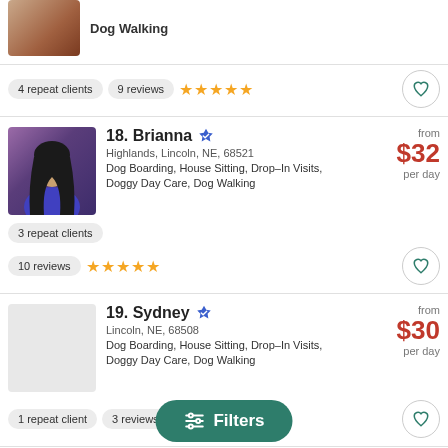Dog Walking
4 repeat clients  9 reviews  ★★★★★
18. Brianna  Highlands, Lincoln, NE, 68521  Dog Boarding, House Sitting, Drop-In Visits, Doggy Day Care, Dog Walking  from $32 per day
3 repeat clients
10 reviews  ★★★★★
19. Sydney  Lincoln, NE, 68508  Dog Boarding, House Sitting, Drop-In Visits, Doggy Day Care, Dog Walking  from $30 per day
1 repeat client  3 reviews  ★★★★★
20. Maddie  from
Filters